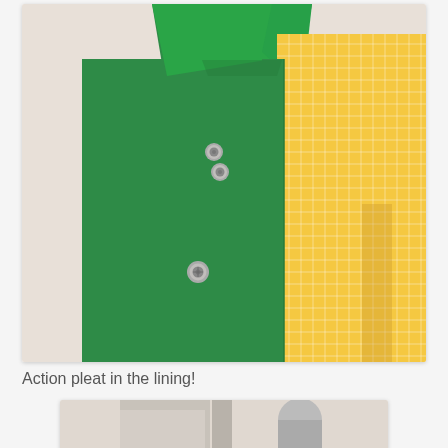[Figure (photo): Close-up photo of a garment on a dress form/mannequin. Left side shows solid green fabric with silver snap buttons. Right side shows yellow and white gingham/checked fabric sleeve. Green collar visible at top.]
Action pleat in the lining!
[Figure (photo): Partial photo of a mannequin showing the lower portion of a garment, cropped at bottom of page.]